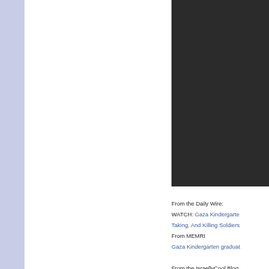[Figure (screenshot): YouTube video unavailable error screen showing a grey exclamation mark circle icon with partial text 'Vide', 'This', 'YouT', 'beer' on a dark background]
From the Daily Wire:
WATCH: Gaza Kindergarte... Taking, And Killing Soldiers
From MEMRI
Gaza Kindergarten graduat...
From the IsraellyCool Blog
WATCH: Fun & Games a...